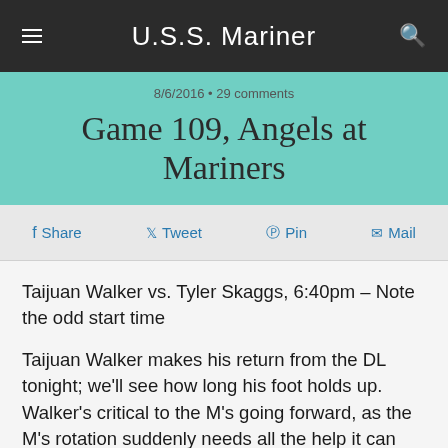U.S.S. Mariner
8/6/2016 • 29 comments
Game 109, Angels at Mariners
Share   Tweet   Pin   Mail
Taijuan Walker vs. Tyler Skaggs, 6:40pm – Note the odd start time
Taijuan Walker makes his return from the DL tonight; we'll see how long his foot holds up. Walker's critical to the M's going forward, as the M's rotation suddenly needs all the help it can get. HR issues aside, it's been a solid year for him results-wise. But with his foot injury lingering and with a FIP of 4.72, questions